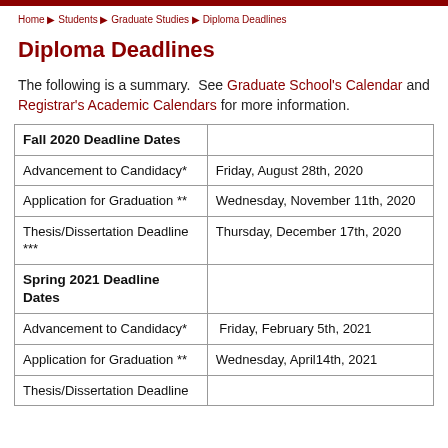Home ▶ Students ▶ Graduate Studies ▶ Diploma Deadlines
Diploma Deadlines
The following is a summary. See Graduate School's Calendar and Registrar's Academic Calendars for more information.
| Fall 2020 Deadline Dates |  |
| --- | --- |
| Advancement to Candidacy* | Friday, August 28th, 2020 |
| Application for Graduation ** | Wednesday, November 11th, 2020 |
| Thesis/Dissertation Deadline *** | Thursday, December 17th, 2020 |
| Spring 2021 Deadline Dates |  |
| Advancement to Candidacy* | Friday, February 5th, 2021 |
| Application for Graduation ** | Wednesday, April14th, 2021 |
| Thesis/Dissertation Deadline |  |